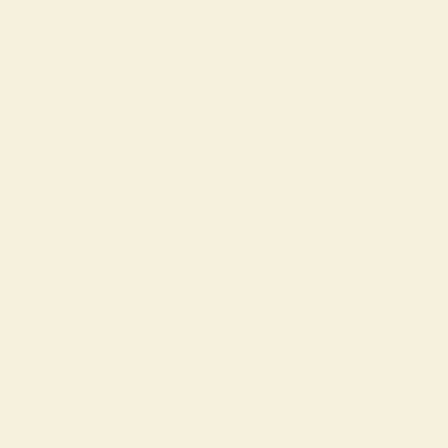small Thorne Bay Airport Car Rental link
[Figure (map): Google Maps satellite view showing Milford Beach, MILFORD area, North Shore Hospital (red H marker), Takapuna Beach (green marker), and TAKAPUNA label. Aerial/satellite imagery showing lake/reservoir surrounded by urban area with ocean/harbor to the right.]
<iframe width="260" height="200" frameborder="0" scrolling="no" marginheight="0" marginwidth="0"
medium Thorne Bay Airport Car Rental link
[Figure (map): Google Maps satellite view showing Milford Beach (green marker), MILFORD label, 2022 Google watermark, and Rangitoto Island label on right edge. Aerial/satellite imagery of coastal area.]